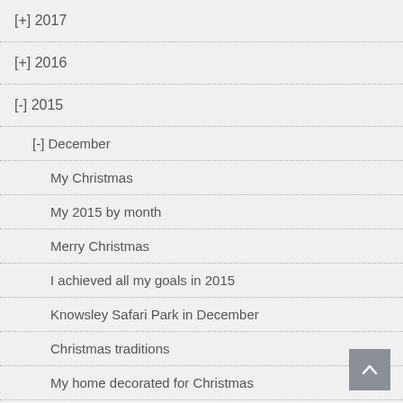[+] 2017
[+] 2016
[-] 2015
[-] December
My Christmas
My 2015 by month
Merry Christmas
I achieved all my goals in 2015
Knowsley Safari Park in December
Christmas traditions
My home decorated for Christmas
Good things